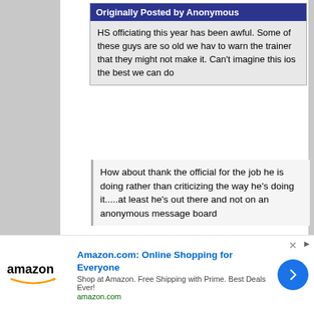Originally Posted by Anonymous
HS officiating this year has been awful. Some of these guys are so old we hav to warn the trainer that they might not make it. Can't imagine this ios the best we can do
How about thank the official for the job he is doing rather than criticizing the way he's doing it.....at least he's out there and not on an anonymous message board
Ha. Agreed. The best thing I ever heard an official tell a set of parents who were riding him the whole game was “We are always looking for volunteers…”. That shut them up.
I'm all for supporting officials. I thank each and every one, if I see th after the game. BUT, it is not a volunteer position. They get paid. M
[Figure (infographic): Amazon.com advertisement banner with Amazon logo, 'Online Shopping for Everyone' headline, 'Shop at Amazon. Free Shipping with Prime. Best Deals Ever!' subtext, amazon.com URL, and a blue circular arrow button.]